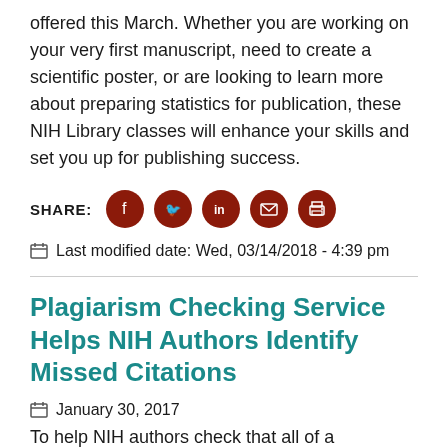offered this March. Whether you are working on your very first manuscript, need to create a scientific poster, or are looking to learn more about preparing statistics for publication, these NIH Library classes will enhance your skills and set you up for publishing success.
SHARE: [Facebook] [Twitter] [LinkedIn] [Email] [Print]
Last modified date: Wed, 03/14/2018 - 4:39 pm
Plagiarism Checking Service Helps NIH Authors Identify Missed Citations
January 30, 2017
To help NIH authors check that all of a manuscript's